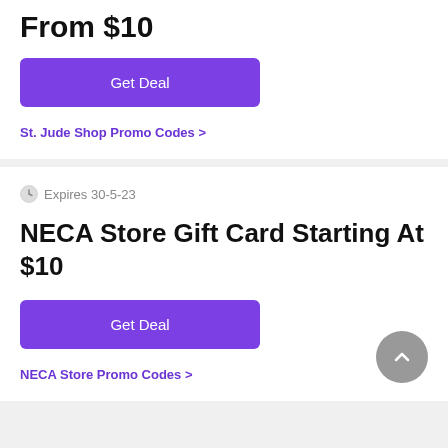From $10
Get Deal
St. Jude Shop Promo Codes >
Expires 30-5-23
NECA Store Gift Card Starting At $10
Get Deal
NECA Store Promo Codes >